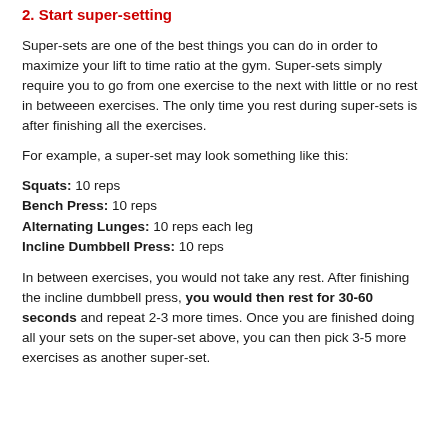2. Start super-setting
Super-sets are one of the best things you can do in order to maximize your lift to time ratio at the gym. Super-sets simply require you to go from one exercise to the next with little or no rest in betweeen exercises. The only time you rest during super-sets is after finishing all the exercises.
For example, a super-set may look something like this:
Squats: 10 reps
Bench Press: 10 reps
Alternating Lunges: 10 reps each leg
Incline Dumbbell Press: 10 reps
In between exercises, you would not take any rest. After finishing the incline dumbbell press, you would then rest for 30-60 seconds and repeat 2-3 more times. Once you are finished doing all your sets on the super-set above, you can then pick 3-5 more exercises as another super-set.